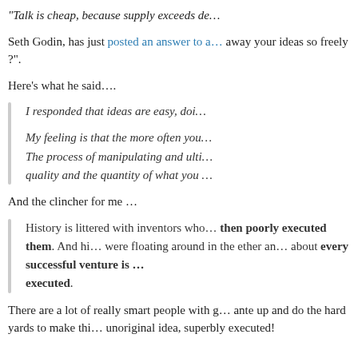“Talk is cheap, because supply exceeds de…
Seth Godin, has just posted an answer to a… away your ideas so freely ?”.
Here’s what he said….
I responded that ideas are easy, doi…
My feeling is that the more often you… The process of manipulating and ulti… quality and the quantity of what you …
And the clincher for me …
History is littered with inventors who… then poorly executed them. And hi… were floating around in the ether an… about every successful venture is … executed.
There are a lot of really smart people with g… ante up and do the hard yards to make thi… unoriginal idea, superbly executed!
Posted in Business | No Comments »